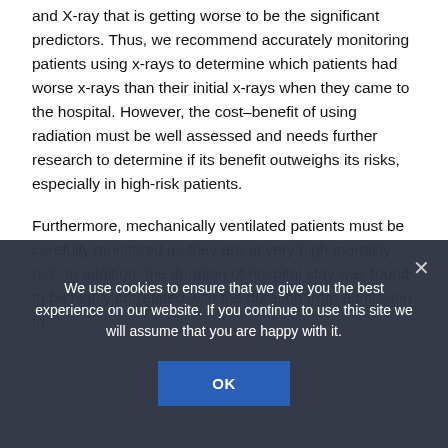and X-ray that is getting worse to be the significant predictors. Thus, we recommend accurately monitoring patients using x-rays to determine which patients had worse x-rays than their initial x-rays when they came to the hospital. However, the cost–benefit of using radiation must be well assessed and needs further research to determine if its benefit outweighs its risks, especially in high-risk patients.
Furthermore, mechanically ventilated patients must be carefully monitored as they are at very high mortality risk. In addition, the duration of hospital stay was found to be highly correlated with the duration from admission to
We use cookies to ensure that we give you the best experience on our website. If you continue to use this site we will assume that you are happy with it.